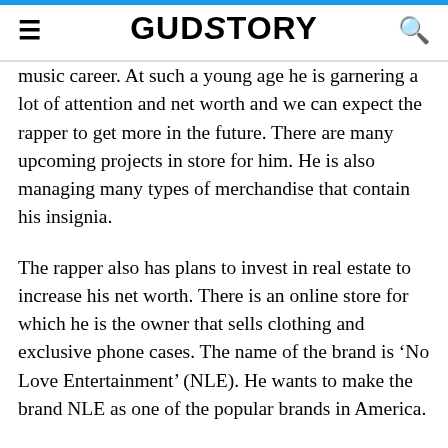GUDSTORY
music career. At such a young age he is garnering a lot of attention and net worth and we can expect the rapper to get more in the future. There are many upcoming projects in store for him. He is also managing many types of merchandise that contain his insignia.
The rapper also has plans to invest in real estate to increase his net worth. There is an online store for which he is the owner that sells clothing and exclusive phone cases. The name of the brand is ‘No Love Entertainment’ (NLE). He wants to make the brand NLE as one of the popular brands in America.
Also read: Pitbull Biography